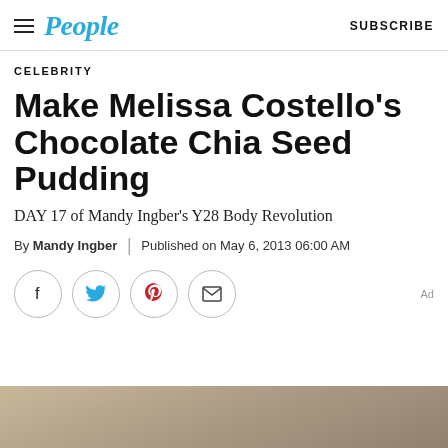People | SUBSCRIBE
CELEBRITY
Make Melissa Costello’s Chocolate Chia Seed Pudding
DAY 17 of Mandy Ingber’s Y28 Body Revolution
By Mandy Ingber | Published on May 6, 2013 06:00 AM
[Figure (infographic): Social sharing buttons: Facebook, Twitter, Pinterest, Email]
[Figure (photo): Partial food photo at bottom of page]